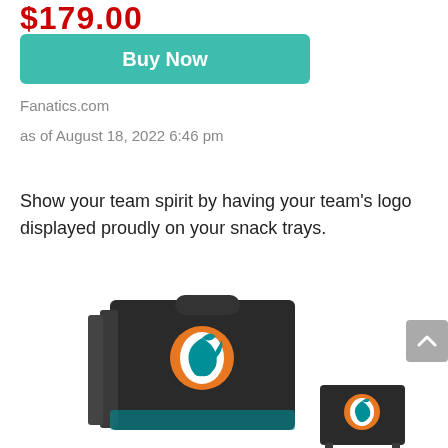$179.00 (price, partially visible/cut off)
Buy Now
Fanatics.com
as of August 18, 2022 6:46 pm
Show your team spirit by having your team's logo displayed proudly on your snack trays.
[Figure (photo): Dark wood TV tray set with Miami Dolphins NFL team logo displayed. Shows folded tray stand and a small side table, both featuring the Dolphins logo with teal dolphin and orange sunburst design.]